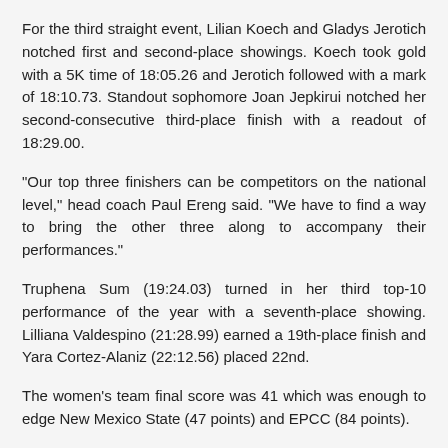For the third straight event, Lilian Koech and Gladys Jerotich notched first and second-place showings. Koech took gold with a 5K time of 18:05.26 and Jerotich followed with a mark of 18:10.73. Standout sophomore Joan Jepkirui notched her second-consecutive third-place finish with a readout of 18:29.00.
"Our top three finishers can be competitors on the national level," head coach Paul Ereng said. "We have to find a way to bring the other three along to accompany their performances."
Truphena Sum (19:24.03) turned in her third top-10 performance of the year with a seventh-place showing. Lilliana Valdespino (21:28.99) earned a 19th-place finish and Yara Cortez-Alaniz (22:12.56) placed 22nd.
The women's team final score was 41 which was enough to edge New Mexico State (47 points) and EPCC (84 points).
MEN'S RECAP